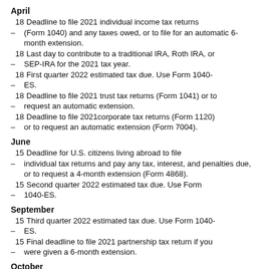April
18 Deadline to file 2021 individual income tax returns
– (Form 1040) and any taxes owed, or to file for an automatic 6-month extension.
18 Last day to contribute to a traditional IRA, Roth IRA, or
– SEP-IRA for the 2021 tax year.
18 First quarter 2022 estimated tax due. Use Form 1040-
– ES.
18 Deadline to file 2021 trust tax returns (Form 1041) or to
– request an automatic extension.
18 Deadline to file 2021corporate tax returns (Form 1120)
– or to request an automatic extension (Form 7004).
June
15 Deadline for U.S. citizens living abroad to file
– individual tax returns and pay any tax, interest, and penalties due, or to request a 4-month extension (Form 4868).
15 Second quarter 2022 estimated tax due. Use Form
– 1040-ES.
September
15 Third quarter 2022 estimated tax due. Use Form 1040-
– ES.
15 Final deadline to file 2021 partnership tax return if you
– were given a 6-month extension.
October
1 Deadline for a retirement plan to establish a SIMPLE